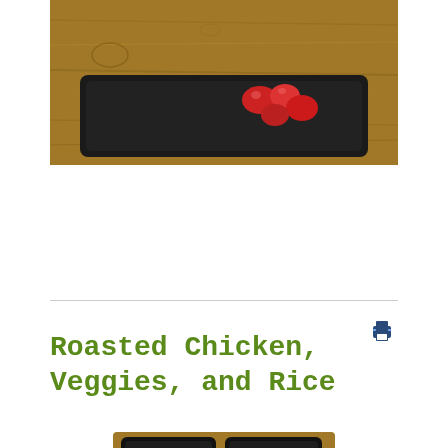[Figure (photo): Top-down photo of a black meal prep tray containing cherry tomatoes and other food items, placed on a wooden table surface]
Roasted Chicken, Veggies, and Rice
[Figure (photo): Photo of multiple black meal prep trays filled with colorful vegetables including broccoli, cherry tomatoes, cauliflower, and purple cabbage, arranged on a wooden surface]